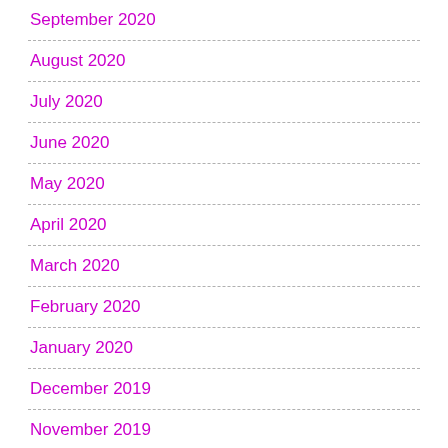September 2020
August 2020
July 2020
June 2020
May 2020
April 2020
March 2020
February 2020
January 2020
December 2019
November 2019